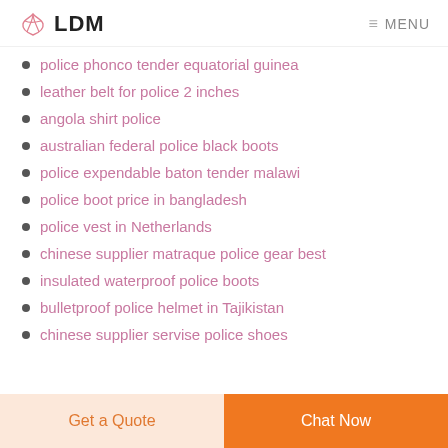LDM | MENU
police phonco tender equatorial guinea
leather belt for police 2 inches
angola shirt police
australian federal police black boots
police expendable baton tender malawi
police boot price in bangladesh
police vest in Netherlands
chinese supplier matraque police gear best
insulated waterproof police boots
bulletproof police helmet in Tajikistan
chinese supplier servise police shoes
Get a Quote | Chat Now